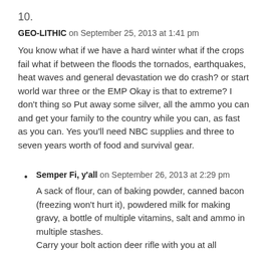10.
GEO-LITHIC on September 25, 2013 at 1:41 pm
You know what if we have a hard winter what if the crops fail what if between the floods the tornados, earthquakes, heat waves and general devastation we do crash? or start world war three or the EMP Okay is that to extreme? I don’t thing so Put away some silver, all the ammo you can and get your family to the country while you can, as fast as you can. Yes you’ll need NBC supplies and three to seven years worth of food and survival gear.
Semper Fi, y'all on September 26, 2013 at 2:29 pm
A sack of flour, can of baking powder, canned bacon (freezing won’t hurt it), powdered milk for making gravy, a bottle of multiple vitamins, salt and ammo in multiple stashes.
Carry your bolt action deer rifle with you at all